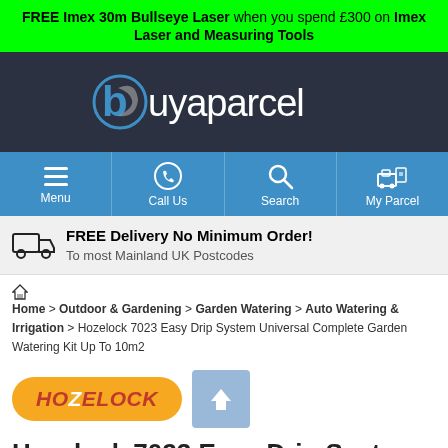FREE Imex 30m Bullseye Laser when you spend £300 on Imex Laser and Measuring Tools
[Figure (logo): Buyaparcel logo on dark background with wrench icon]
[Figure (other): Navigation bar with Menu, Call Us, Search, My Parcel icons on blue background]
FREE Delivery No Minimum Order! To most Mainland UK Postcodes
Home > Outdoor & Gardening > Garden Watering > Auto Watering & Irrigation > Hozelock 7023 Easy Drip System Universal Complete Garden Watering Kit Up To 10m2
[Figure (logo): Hozelock logo (orange oval) and upload/share icon (blue box with up arrow)]
Hozelock 7023 Easy Drip System